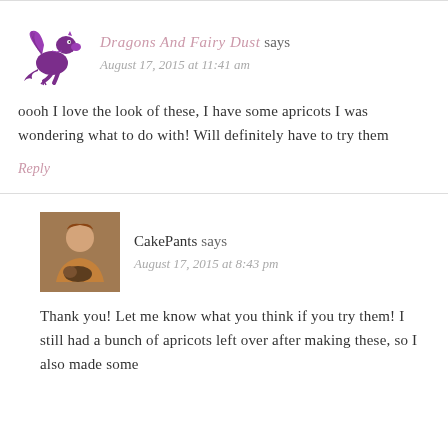Dragons And Fairy Dust says
August 17, 2015 at 11:41 am
oooh I love the look of these, I have some apricots I was wondering what to do with! Will definitely have to try them
Reply
CakePants says
August 17, 2015 at 8:43 pm
Thank you! Let me know what you think if you try them! I still had a bunch of apricots left over after making these, so I also made some